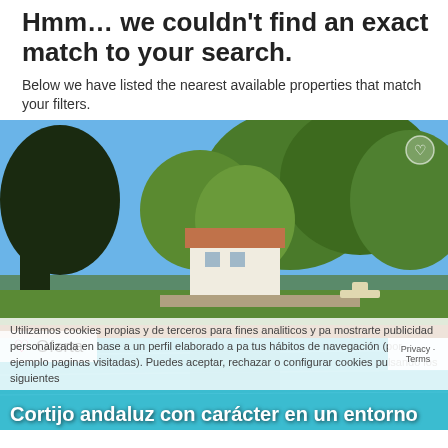Hmm… we couldn't find an exact match to your search.
Below we have listed the nearest available properties that match your filters.
[Figure (photo): Outdoor photo of a Spanish rural property (cortijo) with a large blue swimming pool in the foreground, white farmhouse building surrounded by lush green trees under a clear blue sky, with sun loungers visible on the terrace.]
Oferta
Utilizamos cookies propias y de terceros para fines analiticos y pa mostrarte publicidad personalizada en base a un perfil elaborado a pa tus hábitos de navegación (por ejemplo paginas visitadas). Puedes aceptar, rechazar o configurar cookies pulsando los siguientes
Privacy · Terms
Cortijo andaluz con carácter en un entorno